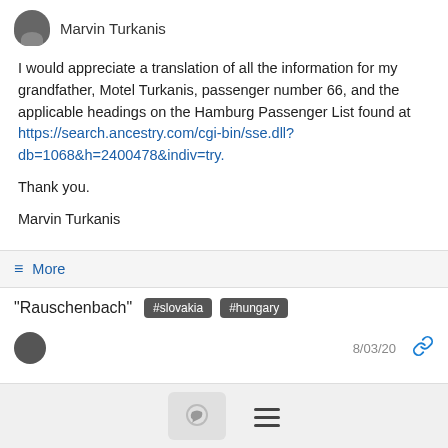Marvin Turkanis
I would appreciate a translation of all the information for my grandfather, Motel Turkanis, passenger number 66, and the applicable headings on the Hamburg Passenger List found at https://search.ancestry.com/cgi-bin/sse.dll?db=1068&h=2400478&indiv=try.

Thank you.

Marvin Turkanis
≡ More
"Rauschenbach" #slovakia #hungary
8/03/20